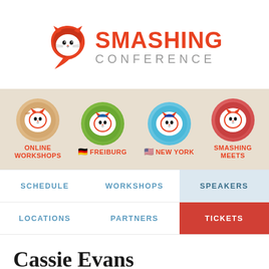[Figure (logo): Smashing Conference logo with red cat mascot and 'SMASHING CONFERENCE' text]
[Figure (infographic): Banner strip with four event categories: Online Workshops, Freiburg (Germany flag), New York (US flag), Smashing Meets — each with a circular cat mascot]
SCHEDULE | WORKSHOPS | SPEAKERS
LOCATIONS | PARTNERS | TICKETS
Cassie Evans